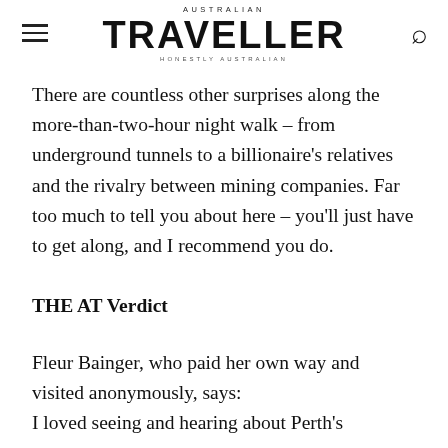AUSTRALIAN TRAVELLER — HONESTLY AUSTRALIAN
There are countless other surprises along the more-than-two-hour night walk – from underground tunnels to a billionaire's relatives and the rivalry between mining companies. Far too much to tell you about here – you'll just have to get along, and I recommend you do.
THE AT Verdict
Fleur Bainger, who paid her own way and visited anonymously, says:
I loved seeing and hearing about Perth's